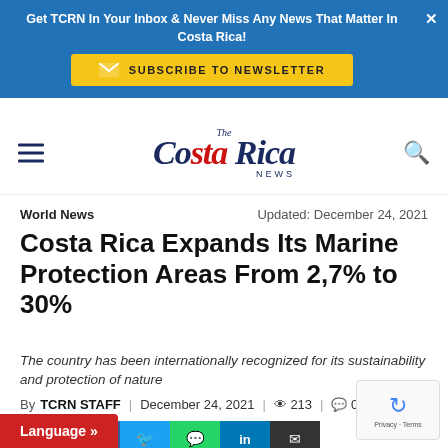Get TCRN In Your Inbox & Never Miss Any News That Matter In Costa Rica! SUBSCRIBE TO NEWSLETTER
[Figure (logo): The Costa Rica News logo with hamburger menu and search icon]
World News
Updated: December 24, 2021
Costa Rica Expands Its Marine Protection Areas From 2,7% to 30%
The country has been internationally recognized for its sustainability and protection of nature
By TCRN STAFF | December 24, 2021 | 213 | 0
[Figure (infographic): Social sharing buttons: share, Facebook, Twitter, WhatsApp, LinkedIn, Email]
Language »